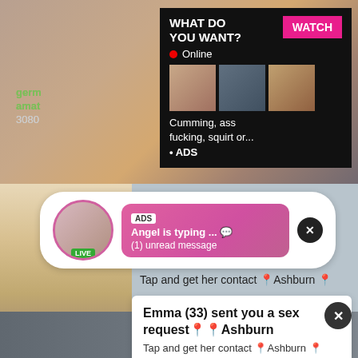[Figure (screenshot): Screenshot of adult website with video thumbnails and chat popups]
germ
amat
3080
WHAT DO YOU WANT?
WATCH
3:12
Online
Cumming, ass fucking, squirt or...
• ADS
ADS
Angel is typing ... 💬
(1) unread message
LIVE
Tap and get her contact 📍Ashburn 📍
Emma (33) sent you a sex request📍📍Ashburn
Tap and get her contact 📍Ashburn 📍